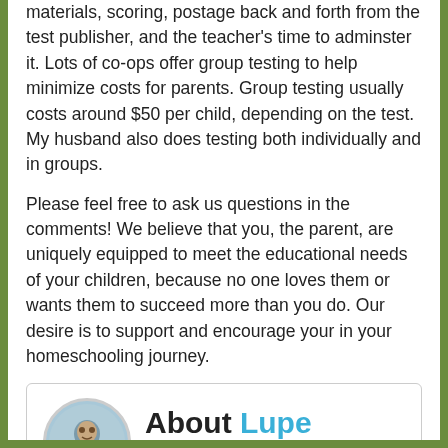materials, scoring, postage back and forth from the test publisher, and the teacher's time to adminster it. Lots of co-ops offer group testing to help minimize costs for parents. Group testing usually costs around $50 per child, depending on the test. My husband also does testing both individually and in groups.
Please feel free to ask us questions in the comments! We believe that you, the parent, are uniquely equipped to meet the educational needs of your children, because no one loves them or wants them to succeed more than you do. Our desire is to support and encourage your in your homeschooling journey.
[Figure (other): Author bio box with circular avatar photo of Lupe Tucker. Heading reads 'About Lupe Tucker' with 'Lupe Tucker' in blue. Bio text: 'A homeschooling mother of 5, home education advocate, and former classroom teacher. She is a writer, blogger, and poet. "I just want to encourage, and be encouraged. Inspire, and be']